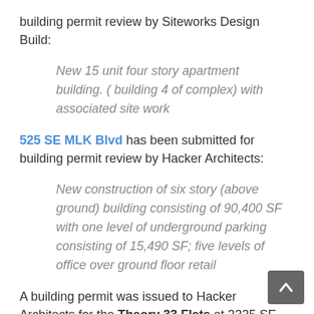building permit review by Siteworks Design Build:
New 15 unit four story apartment building. ( building 4 of complex) with associated site work
525 SE MLK Blvd has been submitted for building permit review by Hacker Architects:
New construction of six story (above ground) building consisting of 90,400 SF with one level of underground parking consisting of 15,490 SF; five levels of office over ground floor retail
A building permit was issued to Hacker Architects for the Theory 33 Flats at 3325 SE Division St:
Construct new 4 story, 30 unit apartment building, t… area at main floor of building, includes associated site…